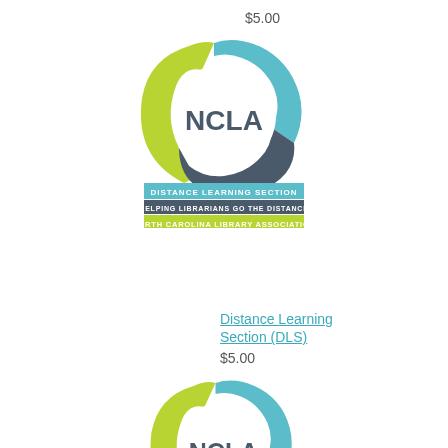$5.00
[Figure (logo): NCLA Distance Learning Section logo with green, teal, and dark gray swooshes forming a circle, with NCLA text in gray, and three colored banner strips: teal 'DISTANCE LEARNING SECTION', dark gray 'HELPING LIBRARIANS GO THE DISTANCE', green 'NORTH CAROLINA LIBRARY ASSOCIATION']
Distance Learning Section (DLS)
$5.00
[Figure (logo): NCLA logo (partial) showing green and teal swooshes forming a circle with NCLA text in gray, cropped at bottom of page]